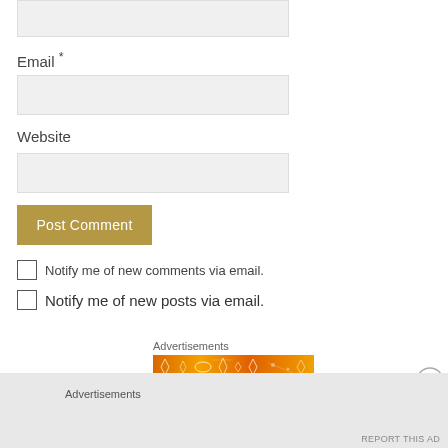[Figure (screenshot): Top input field (partially visible, cut off at top of page)]
Email *
[Figure (screenshot): Email input text field (empty, light gray background)]
Website
[Figure (screenshot): Website input text field (empty, light gray background)]
Post Comment
Notify me of new comments via email.
Notify me of new posts via email.
Advertisements
[Figure (illustration): Orange advertisement banner with decorative pattern]
[Figure (other): Close/X button circle icon]
Advertisements
REPORT THIS AD